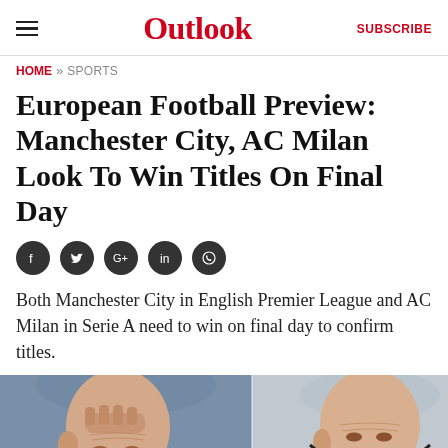Outlook | SUBSCRIBE
HOME » SPORTS
European Football Preview: Manchester City, AC Milan Look To Win Titles On Final Day
Social share icons: Facebook, Twitter, Google+, LinkedIn, WhatsApp
Both Manchester City in English Premier League and AC Milan in Serie A need to win on final day to confirm titles.
[Figure (photo): Side-by-side photos of two bald football managers, left manager touching his forehead, right manager wearing a black face mask]